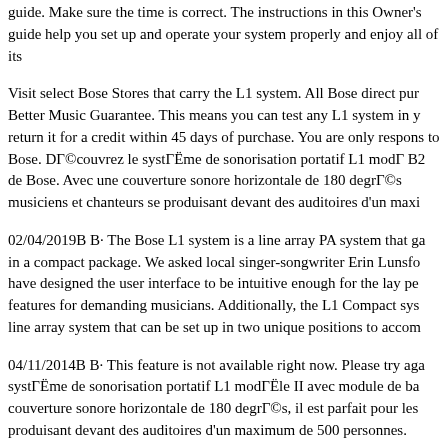guide. Make sure the time is correct. The instructions in this Owner's guide help you set up and operate your system properly and enjoy all of its
Visit select Bose Stores that carry the L1 system. All Bose direct purchases include a Better Music Guarantee. This means you can test any L1 system in your gig and return it for a credit within 45 days of purchase. You are only responsible for shipping to Bose. DΓ©couvrez le systΓËme de sonorisation portatif L1 modΓ with module B2 de Bose. Avec une couverture sonore horizontale de 180 degrΓ©s, musiciens et chanteurs se produisant devant des auditoires d'un maxi
02/04/2019B B· The Bose L1 system is a line array PA system that ga in a compact package. We asked local singer-songwriter Erin Lunsfo have designed the user interface to be intuitive enough for the lay pe features for demanding musicians. Additionally, the L1 Compact sys line array system that can be set up in two unique positions to accom
04/11/2014B B· This feature is not available right now. Please try aga systΓËme de sonorisation portatif L1 modΓËle II avec module de ba couverture sonore horizontale de 180 degrΓ©s, il est parfait pour les produisant devant des auditoires d'un maximum de 500 personnes.